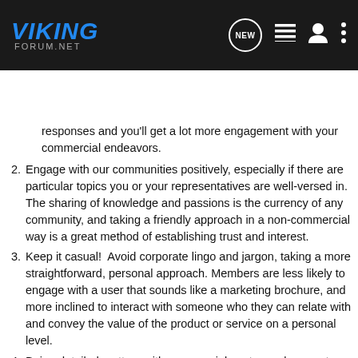[Figure (screenshot): Viking Forum .net website header with dark background, logo in blue italic text, and navigation icons including NEW chat bubble, list icon, user icon, and three-dot menu]
[Figure (screenshot): Search Community search bar on dark background with magnifying glass icon]
responses and you'll get a lot more engagement with your commercial endeavors.
Engage with our communities positively, especially if there are particular topics you or your representatives are well-versed in. The sharing of knowledge and passions is the currency of any community, and taking a friendly approach in a non-commercial way is a great method of establishing trust and interest.
Keep it casual!  Avoid corporate lingo and jargon, taking a more straightforward, personal approach. Members are less likely to engage with a user that sounds like a marketing brochure, and more inclined to interact with someone who they can relate with and convey the value of the product or service on a personal level.
Being detailed matters with commercial posts - so be sure to